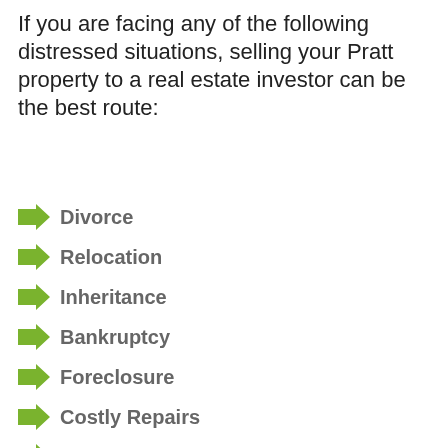If you are facing any of the following distressed situations, selling your Pratt property to a real estate investor can be the best route:
Divorce
Relocation
Inheritance
Bankruptcy
Foreclosure
Costly Repairs
Difficult Tenants
Financial Hardship
Property Tax Delinquency
[Figure (photo): Photo of a miniature blue house model, eyeglasses, and a stack of dollar bills on a wooden table surface]